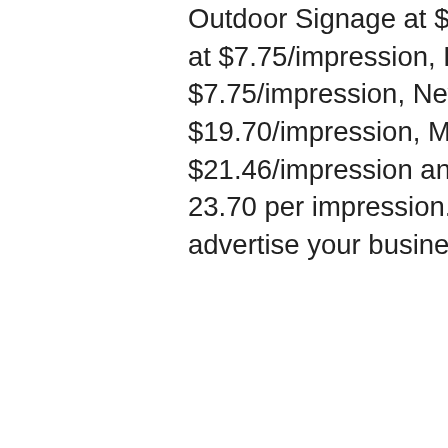Outdoor Signage at $3.56/impression, Radio at $7.75/impression, Primetime T.V. at $7.75/impression, Newspaper at $19.70/impression, Magazine at $21.46/impression and non-primetime T.V. at 23.70 per impression. So where should you advertise your business?
Precision Signs & Imaging specializes in the design, fabrication and installation of vehicle wraps and graphics, as well as many other interior and exterior sign types and